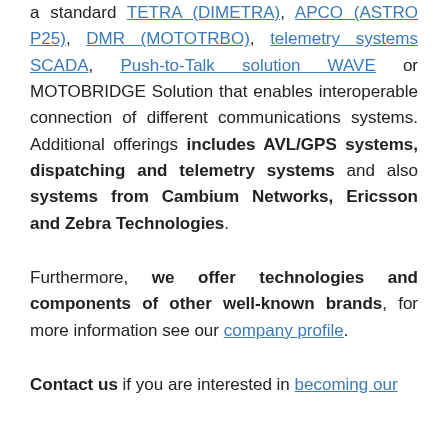a standard TETRA (DIMETRA), APCO (ASTRO P25), DMR (MOTOTRBO), telemetry systems SCADA, Push-to-Talk solution WAVE or MOTOBRIDGE Solution that enables interoperable connection of different communications systems. Additional offerings includes AVL/GPS systems, dispatching and telemetry systems and also systems from Cambium Networks, Ericsson and Zebra Technologies.
Furthermore, we offer technologies and components of other well-known brands, for more information see our company profile.
Contact us if you are interested in becoming our